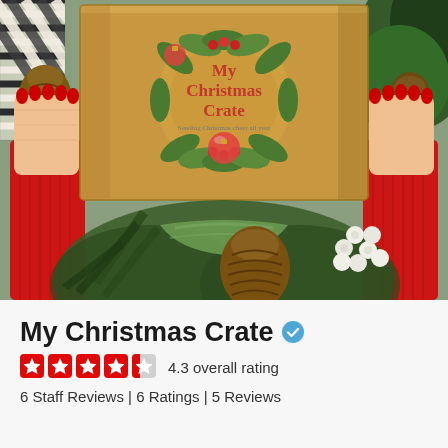[Figure (photo): Person with red sweater sleeves and red nails holding open a cardboard box labeled 'My Christmas Crate' with a holiday wreath design, surrounded by pinecones, pine branches, white berries, and green foliage.]
My Christmas Crate
4.3 overall rating
6 Staff Reviews | 6 Ratings | 5 Reviews